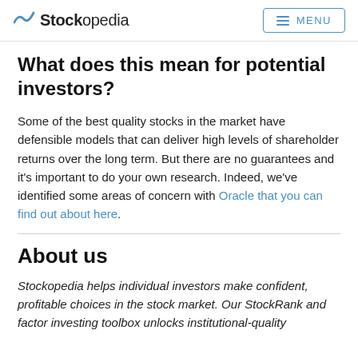Stockopedia  MENU
What does this mean for potential investors?
Some of the best quality stocks in the market have defensible models that can deliver high levels of shareholder returns over the long term. But there are no guarantees and it's important to do your own research. Indeed, we've identified some areas of concern with Oracle that you can find out about here.
About us
Stockopedia helps individual investors make confident, profitable choices in the stock market. Our StockRank and factor investing toolbox unlocks institutional-quality